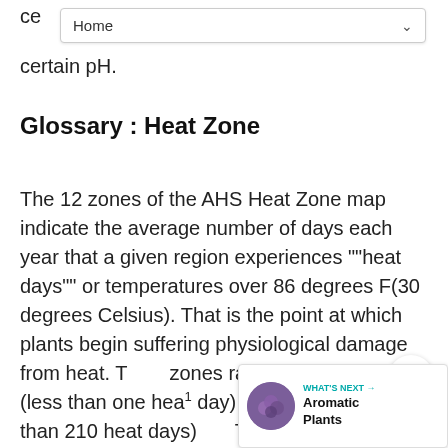certain pH.
Glossary : Heat Zone
The 12 zones of the AHS Heat Zone map indicate the average number of days each year that a given region experiences ""heat days"" or temperatures over 86 degrees F(30 degrees Celsius). That is the point at which plants begin suffering physiological damage from heat. The zones range from Zone 1 (less than one heat day) to Zone 12 (more than 210 heat days). The AHS Heat Zone, which deals with heat tolerance, should not be confused with the USDA Hardiness Zone system which deals